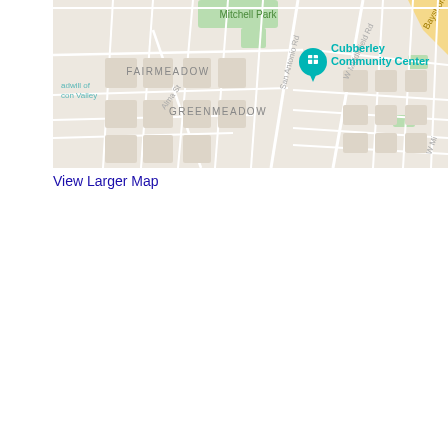[Figure (map): Google Maps view showing Cubberley Community Center in Palo Alto, CA. The map shows neighborhoods including Fairmeadow and Greenmeadow, with streets including Alma St, San Antonio Rd, W Middlefield Rd, and a partial view of Bayshore. A teal map pin marks the Cubberley Community Center location. Mitchell Park is visible in the upper area. A yellow highway marker for Bayshore is visible in the upper right corner.]
View Larger Map